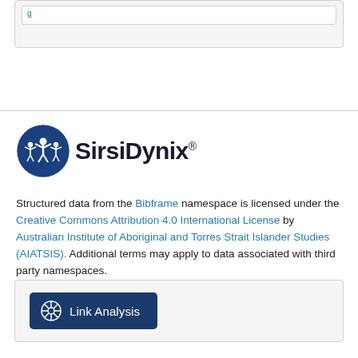[Figure (logo): SirsiDynix logo with circular blue emblem showing figures and the text SirsiDynix]
Structured data from the Bibframe namespace is licensed under the Creative Commons Attribution 4.0 International License by Australian Institute of Aboriginal and Torres Strait Islander Studies (AIATSIS). Additional terms may apply to data associated with third party namespaces.
[Figure (other): Link Analysis button with network icon]